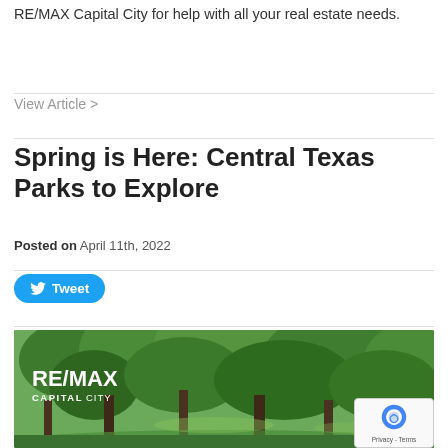RE/MAX Capital City for help with all your real estate needs.
View Article >
Spring is Here: Central Texas Parks to Explore
Posted on April 11th, 2022
[Figure (other): Tweet button with Twitter bird icon]
[Figure (photo): Park scene with lush green trees; RE/MAX Capital City logo overlaid in white on the left side of the image. reCAPTCHA badge visible in the bottom right corner with 'Privacy - Terms' text.]